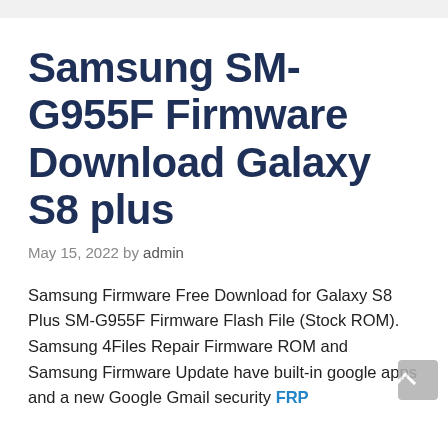Samsung SM-G955F Firmware Download Galaxy S8 plus
May 15, 2022 by admin
Samsung Firmware Free Download for Galaxy S8 Plus SM-G955F Firmware Flash File (Stock ROM). Samsung 4Files Repair Firmware ROM and Samsung Firmware Update have built-in google apps and a new Google Gmail security FRP